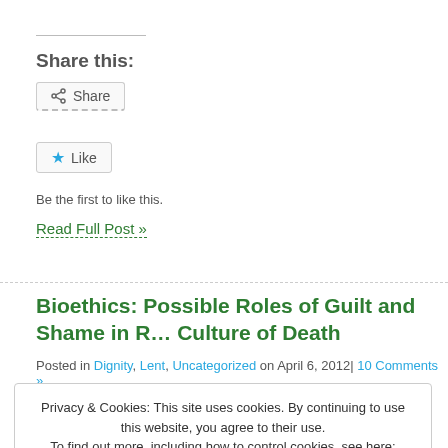Share this:
Share
Like
Be the first to like this.
Read Full Post »
Bioethics: Possible Roles of Guilt and Shame in R… Culture of Death
Posted in Dignity, Lent, Uncategorized on April 6, 2012| 10 Comments »
Privacy & Cookies: This site uses cookies. By continuing to use this website, you agree to their use. To find out more, including how to control cookies, see here: Cookie Policy
Close and accept